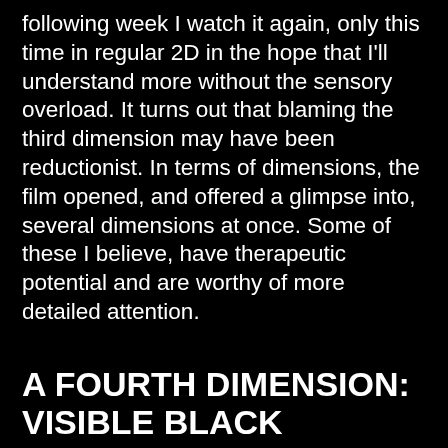following week I watch it again, only this time in regular 2D in the hope that I'll understand more without the sensory overload. It turns out that blaming the third dimension may have been reductionist. In terms of dimensions, the film opened, and offered a glimpse into, several dimensions at once. Some of these I believe, have therapeutic potential and are worthy of more detailed attention.
A FOURTH DIMENSION: VISIBLE BLACK WORLDS
A superhero with an afro; a silver-dreadlocked queen; a Black female army; a braided scientist spearheading the development of a technologically advanced nation. A Black world-making so stunning, and so rarely seen